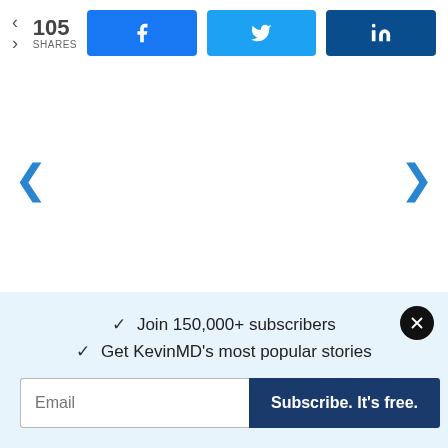[Figure (screenshot): Social share bar showing 105 shares with Facebook, Twitter, and LinkedIn share buttons]
[Figure (screenshot): Navigation arrows (left and right chevrons) for carousel/slideshow]
✓  Join 150,000+ subscribers
✓  Get KevinMD's most popular stories
[Figure (screenshot): Email subscription form with email input field and 'Subscribe. It's free.' button]